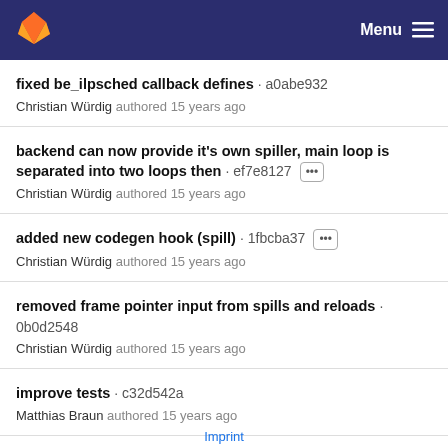GitLab — Menu
fixed be_ilpsched callback defines · a0abe932
Christian Würdig authored 15 years ago
backend can now provide it's own spiller, main loop is separated into two loops then · ef7e8127
Christian Würdig authored 15 years ago
added new codegen hook (spill) · 1fbcba37
Christian Würdig authored 15 years ago
removed frame pointer input from spills and reloads · 0b0d2548
Christian Würdig authored 15 years ago
improve tests · c32d542a
Matthias Braun authored 15 years ago
output results · b1b98c1e
Imprint